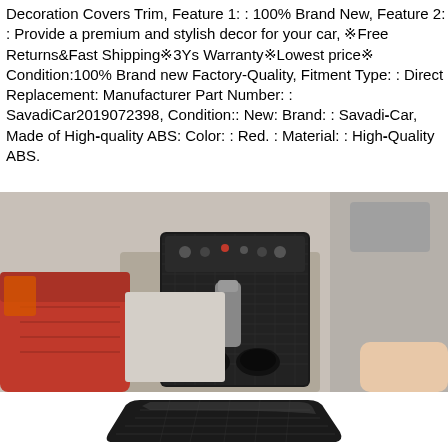Decoration Covers Trim, Feature 1: : 100% Brand New, Feature 2: : Provide a premium and stylish decor for your car, ※Free Returns&Fast Shipping※3Ys Warranty※Lowest price※ Condition:100% Brand new Factory-Quality, Fitment Type: : Direct Replacement: Manufacturer Part Number: : SavadiCar2019072398, Condition:: New: Brand: : Savadi-Car, Made of High-quality ABS: Color: : Red. : Material: : High-Quality ABS.
[Figure (photo): Car interior photo showing center console with carbon fiber gear shift panel, red leather seats, and cup holders]
[Figure (photo): Bottom portion showing a carbon fiber trim piece product closeup]